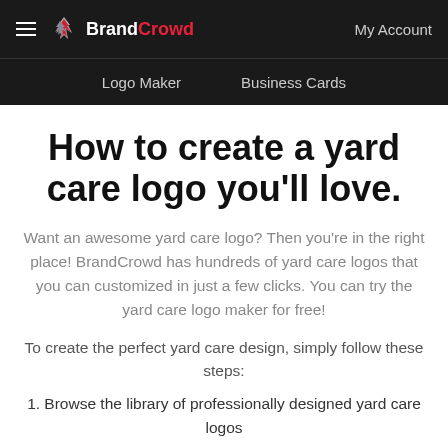BrandCrowd — My Account
Logo Maker   Business Cards
How to create a yard care logo you'll love.
Want an awesome yard care logo? Then you're in the right place! BrandCrowd has hundreds of yard care logos that you can customized in just a few clicks. You can try the yard care logo maker for free!
To create the perfect yard care design, simply follow these steps:
1. Browse the library of professionally designed yard care logos